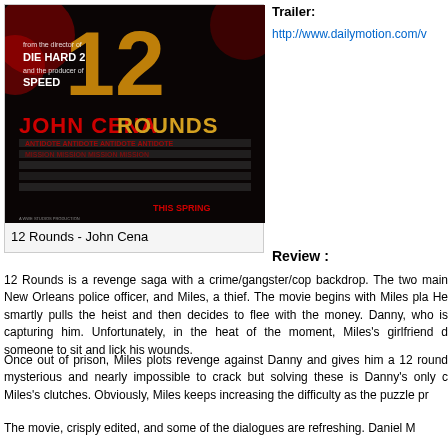[Figure (illustration): Movie poster for '12 Rounds' featuring John Cena. Dark background with the number 12 in large gold text and 'ROUNDS' in large letters. Text reads 'from the director of DIE HARD 2 and the producer of SPEED', 'JOHN CENA'. Red text visible. Bottom reads 'THIS SPRING'.]
12 Rounds - John Cena
Trailer:
http://www.dailymotion.com/v
Review :
12 Rounds is a revenge saga with a crime/gangster/cop backdrop. The two main New Orleans police officer, and Miles, a thief. The movie begins with Miles pla He smartly pulls the heist and then decides to flee with the money. Danny, who is capturing him. Unfortunately, in the heat of the moment, Miles's girlfriend d someone to sit and lick his wounds.
Once out of prison, Miles plots revenge against Danny and gives him a 12 round mysterious and nearly impossible to crack but solving these is Danny's only c Miles's clutches. Obviously, Miles keeps increasing the difficulty as the puzzle pr
The movie, crisply edited, and some of the dialogues are refreshing. Daniel M